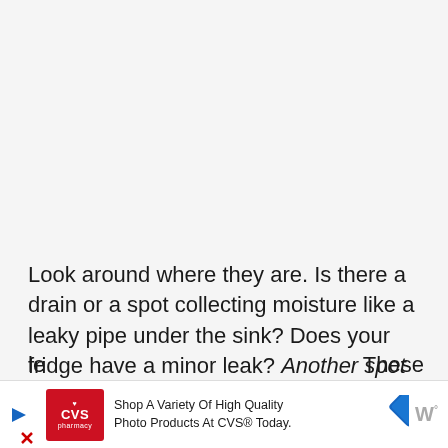Look around where they are. Is there a drain or a spot collecting moisture like a leaky pipe under the sink? Does your fridge have a minor leak? Another spot they love is house plants with moist soil.
Bathrooms and laundry rooms can be a hotspot for them. Are they in those areas or your garage? Do you have a teen who often le...
[Figure (other): CVS pharmacy advertisement banner: red CVS pharmacy logo on left, text 'Shop A Variety Of High Quality Photo Products At CVS® Today.', blue diamond direction sign icon, and partial Walmart logo on right]